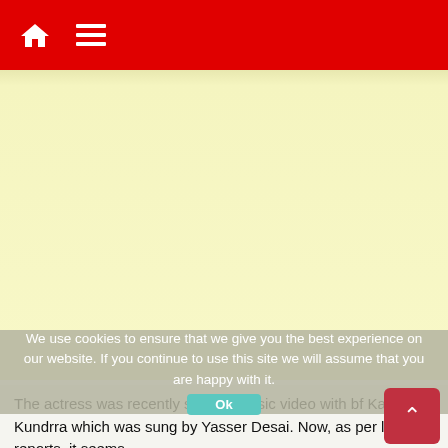Navigation bar with home icon and menu icon
[Figure (other): Advertisement placeholder area with pale yellow background]
We use cookies to ensure that we give you the best experience on our website. If you continue to use this site we will assume that you are happy with it.
The actress was recently seen in music video with bf Karan Kundrra which was sung by Yasser Desai. Now, as per latest reports, it seems